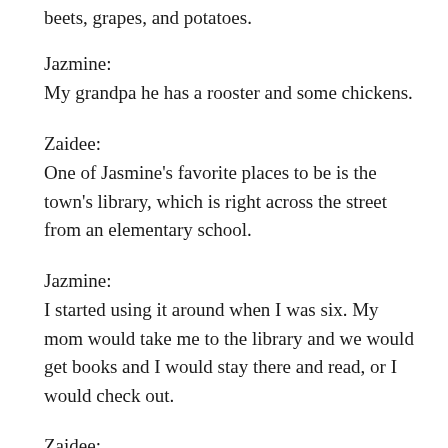beets, grapes, and potatoes.
Jazmine:
My grandpa he has a rooster and some chickens.
Zaidee:
One of Jasmine's favorite places to be is the town's library, which is right across the street from an elementary school.
Jazmine:
I started using it around when I was six. My mom would take me to the library and we would get books and I would stay there and read, or I would check out.
Zaidee: